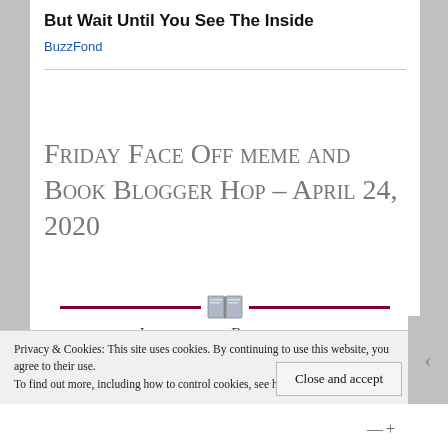But Wait Until You See The Inside
BuzzFond
Friday Face Off meme and Book Blogger Hop – April 24, 2020
[Figure (logo): Journey in Bookland blog logo with open book icon, dark red horizontal lines, site name in small caps, and tagline 'One story at a time' on dark red background]
Privacy & Cookies: This site uses cookies. By continuing to use this website, you agree to their use.
To find out more, including how to control cookies, see here: Cookie Policy
Close and accept